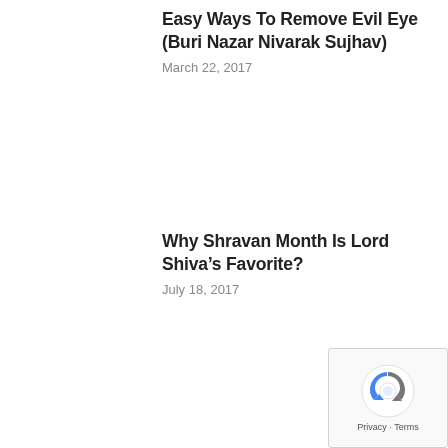Easy Ways To Remove Evil Eye (Buri Nazar Nivarak Sujhav)
March 22, 2017
Why Shravan Month Is Lord Shiva’s Favorite?
July 18, 2017
[Figure (logo): reCAPTCHA badge with Google branding showing Privacy and Terms links]